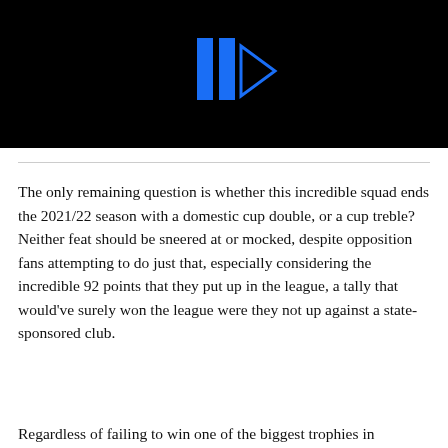[Figure (screenshot): Black video thumbnail with a blue play/logo icon in the center — two vertical blue bars and a blue triangle play button outline]
The only remaining question is whether this incredible squad ends the 2021/22 season with a domestic cup double, or a cup treble? Neither feat should be sneered at or mocked, despite opposition fans attempting to do just that, especially considering the incredible 92 points that they put up in the league, a tally that would've surely won the league were they not up against a state-sponsored club.
Regardless of failing to win one of the biggest trophies in